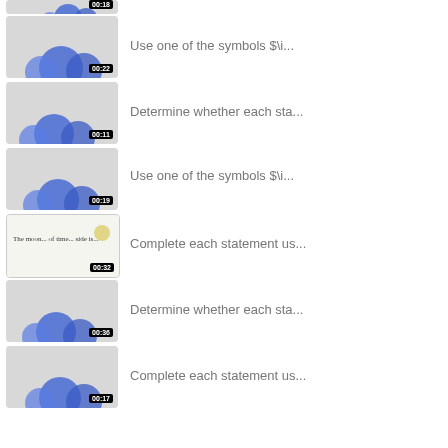[Figure (screenshot): Partial video thumbnail at top showing blue circles on gray background with timestamp 00:18]
[Figure (screenshot): Video thumbnail showing blue circles on gray background with timestamp 00:22]
Use one of the symbols $\i...
[Figure (screenshot): Video thumbnail showing blue circles on gray background with timestamp 00:11]
Determine whether each sta...
[Figure (screenshot): Video thumbnail showing blue circles on gray background with timestamp 00:19]
Use one of the symbols $\i...
[Figure (screenshot): Video thumbnail showing handwritten text on white background with timestamp 00:32]
Complete each statement us...
[Figure (screenshot): Video thumbnail showing blue circles on gray background with timestamp 00:36]
Determine whether each sta...
[Figure (screenshot): Video thumbnail showing blue circles on gray background with timestamp 00:17]
Complete each statement us...